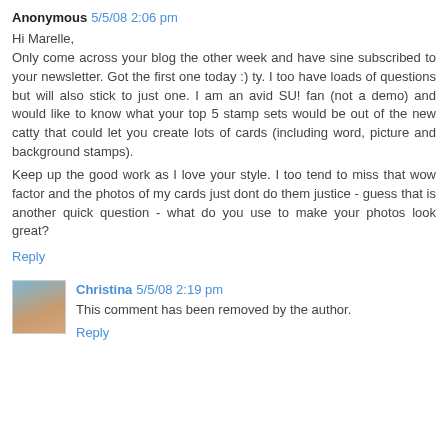Anonymous 5/5/08 2:06 pm
Hi Marelle,
Only come across your blog the other week and have sine subscribed to your newsletter. Got the first one today :) ty. I too have loads of questions but will also stick to just one. I am an avid SU! fan (not a demo) and would like to know what your top 5 stamp sets would be out of the new catty that could let you create lots of cards (including word, picture and background stamps).

Keep up the good work as I love your style. I too tend to miss that wow factor and the photos of my cards just dont do them justice - guess that is another quick question - what do you use to make your photos look great?
Reply
Christina 5/5/08 2:19 pm
This comment has been removed by the author.
Reply